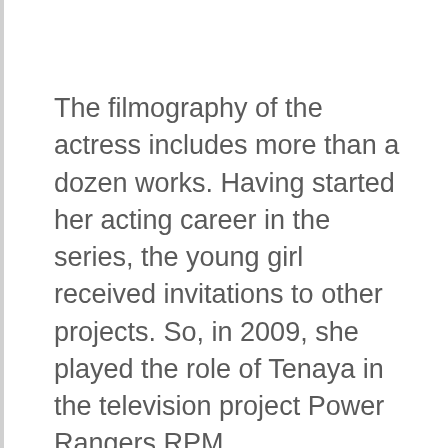The filmography of the actress includes more than a dozen works. Having started her acting career in the series, the young girl received invitations to other projects. So, in 2009, she played the role of Tenaya in the television project Power Rangers RPM.
This was followed by work on the character Jade Ann James in the film "Mystery of the Mountain", in 2010 she received an offer to play Charlie's girlfriend in the series "Cute and Cruel." The accumulated experience allowed her to create a magnificent image of Cara